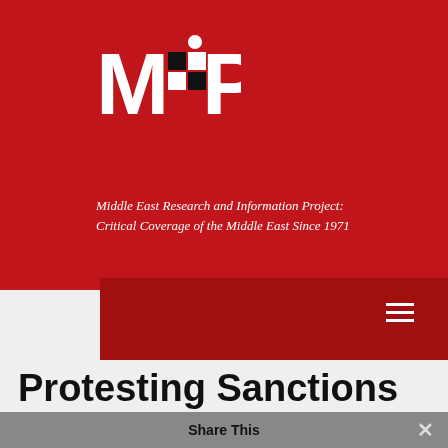[Figure (logo): MERIP logo — bold white letters M, grid of black/white squares, P on red background with white dot above]
Middle East Research and Information Project:
Critical Coverage of the Middle East Since 1971
Protesting Sanctions Against Iraq
A View from Jordan
Jillian Schwedler In: Fall (1998)
Share This